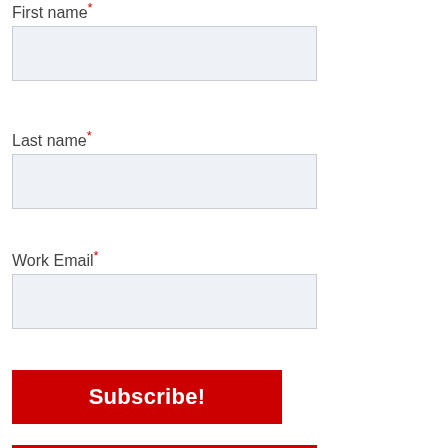First name*
Last name*
Work Email*
[Figure (screenshot): Red Subscribe! button]
[Figure (infographic): Ci Expo 2023 Save the New Date banner with red background and white logo text]